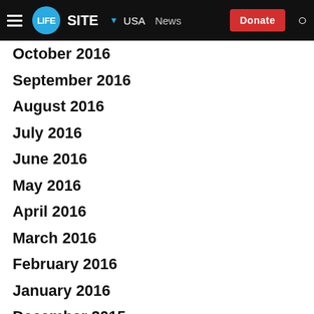LIFESITE | USA | News | Donate
October 2016
September 2016
August 2016
July 2016
June 2016
May 2016
April 2016
March 2016
February 2016
January 2016
December 2015
November 2015
October 2015
September 2015
August 2015
July 2015
June 2015